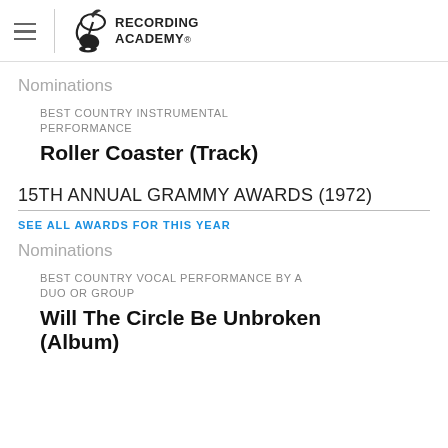Recording Academy
Nominations
BEST COUNTRY INSTRUMENTAL PERFORMANCE
Roller Coaster (Track)
15TH ANNUAL GRAMMY AWARDS (1972)
SEE ALL AWARDS FOR THIS YEAR
Nominations
BEST COUNTRY VOCAL PERFORMANCE BY A DUO OR GROUP
Will The Circle Be Unbroken (Album)